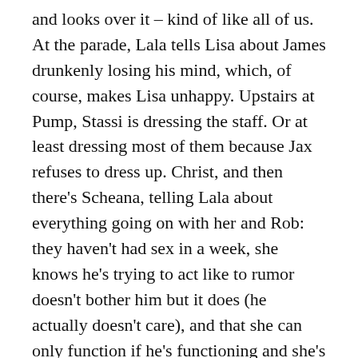and looks over it – kind of like all of us. At the parade, Lala tells Lisa about James drunkenly losing his mind, which, of course, makes Lisa unhappy. Upstairs at Pump, Stassi is dressing the staff. Or at least dressing most of them because Jax refuses to dress up. Christ, and then there's Scheana, telling Lala about everything going on with her and Rob: they haven't had sex in a week, she knows he's trying to act like to rumor doesn't bother him but it does (he actually doesn't care), and that she can only function if he's functioning and she's only happy when he's happy. Tell me that's not a high school relationship.
While Scheana is busy whining and not eating, Lisa is downstairs introducing Billie Lee: a